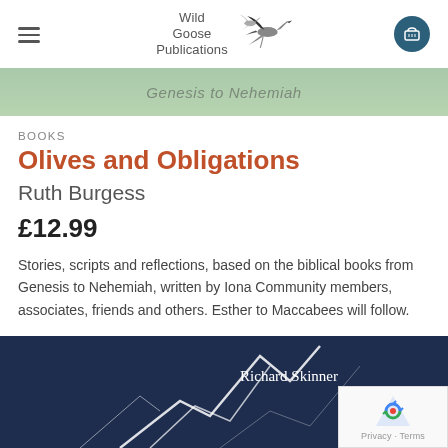Wild Goose Publications
[Figure (illustration): Green watercolor banner strip with faint italic text 'Genesis to Nehemiah']
BOOKS
Olives and Obligations
Ruth Burgess
£12.99
Stories, scripts and reflections, based on the biblical books from Genesis to Nehemiah, written by Iona Community members, associates, friends and others. Esther to Maccabees will follow.
[Figure (photo): Dark navy blue textured surface with white crack/scratch lines. Text 'Richard Skinner' visible on right side. reCAPTCHA badge in bottom-right corner with Privacy and Terms links.]